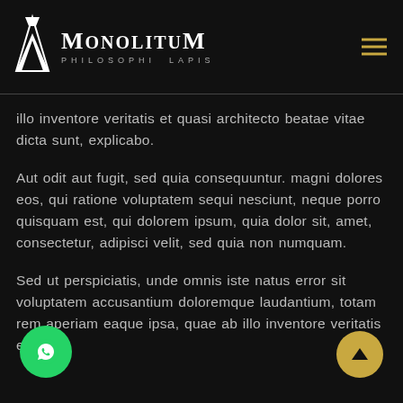[Figure (logo): Monolitum logo with white geometric M icon and text 'MonolituM PHILOSOPHI LAPIS']
illo inventore veritatis et quasi architecto beatae vitae dicta sunt, explicabo.
Aut odit aut fugit, sed quia consequuntur. magni dolores eos, qui ratione voluptatem sequi nesciunt, neque porro quisquam est, qui dolorem ipsum, quia dolor sit, amet, consectetur, adipisci velit, sed quia non numquam.
Sed ut perspiciatis, unde omnis iste natus error sit voluptatem accusantium doloremque laudantium, totam rem aperiam eaque ipsa, quae ab illo inventore veritatis et quasi